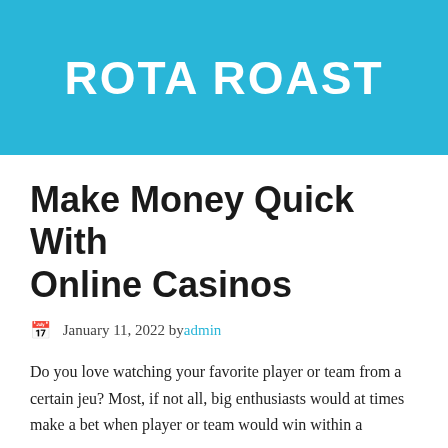ROTA ROAST
Make Money Quick With Online Casinos
January 11, 2022 by admin
Do you love watching your favorite player or team from a certain jeu? Most, if not all, big enthusiasts would at times make a bet when player or team would win within a